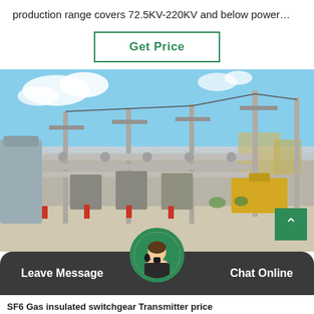production range covers 72.5KV-220KV and below power…
Get Price
[Figure (photo): Outdoor electrical substation with high-voltage equipment, insulators, steel structures, conductors, and power transformers under a partly cloudy blue sky.]
Leave Message
Chat Online
SF6 Gas insulated switchgear Transmitter price